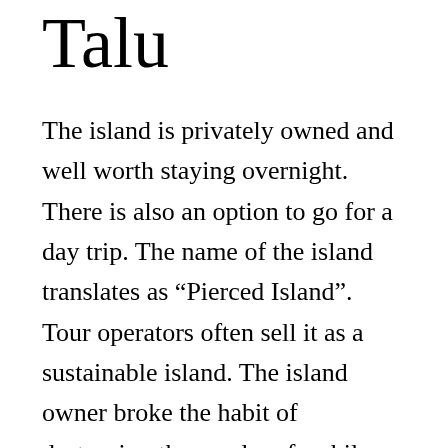Talu
The island is privately owned and well worth staying overnight. There is also an option to go for a day trip. The name of the island translates as “Pierced Island”. Tour operators often sell it as a sustainable island. The island owner broke the habit of destroying the coral reefs while fishing and is now working hard to transplant corals for conservation reasons.
According to the owners. Talu Island has been the gateway to the Gulf of Siam for hundreds of years. Cargo ships used the coast as a shelter during the monsoon season on the island’s south side. On the north side, there is the naturally eroded cliff